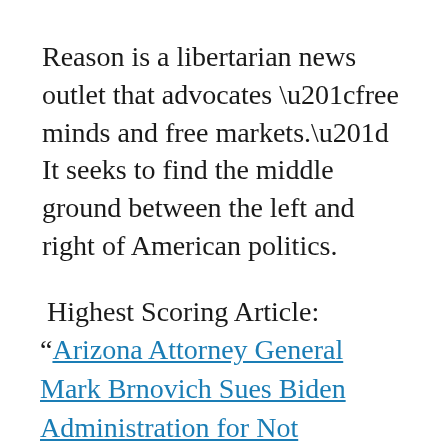Reason is a libertarian news outlet that advocates “free minds and free markets.” It seeks to find the middle ground between the left and right of American politics.
Highest Scoring Article: “Arizona Attorney General Mark Brnovich Sues Biden Administration for Not Studying the Environmental Impact of More Migrants Coming Into the U.S.”
Author: Christine Brice...